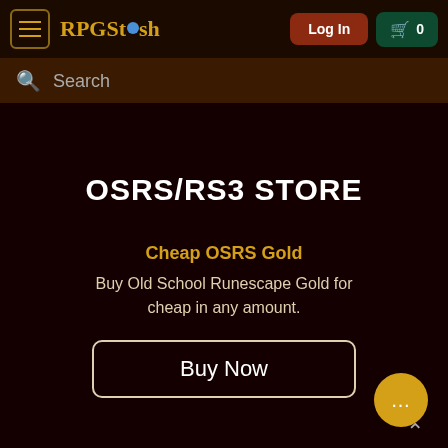RPGStash — Log In | Cart 0
Search
OSRS/RS3 STORE
Cheap OSRS Gold
Buy Old School Runescape Gold for cheap in any amount.
Buy Now